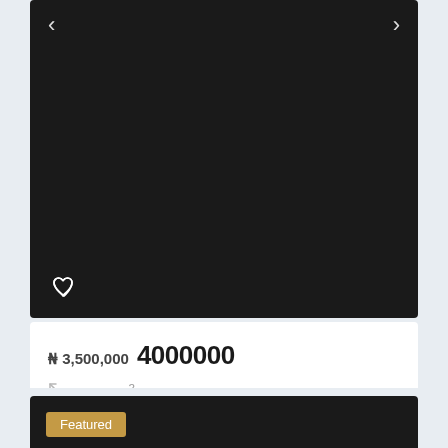[Figure (photo): Dark/black property listing image with left and right navigation arrows and a heart/favorite icon at the bottom left]
₦ 3,500,000 4000000
500.00 m²
Idu Industrial Layout, Abuja, Nigeria, Abuja
Omarealtors
details
[Figure (photo): Dark/black property listing image with a 'Featured' badge in the top left corner]